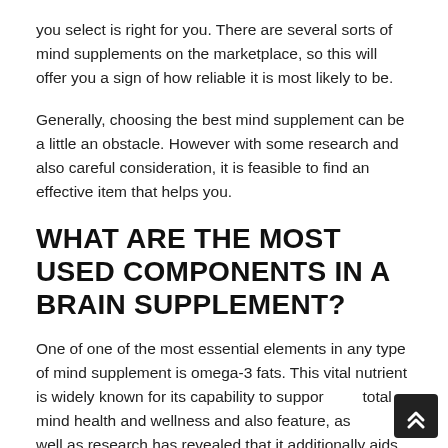you select is right for you. There are several sorts of mind supplements on the marketplace, so this will offer you a sign of how reliable it is most likely to be.
Generally, choosing the best mind supplement can be a little an obstacle. However with some research and also careful consideration, it is feasible to find an effective item that helps you.
WHAT ARE THE MOST USED COMPONENTS IN A BRAIN SUPPLEMENT?
One of one of the most essential elements in any type of mind supplement is omega-3 fats. This vital nutrient is widely known for its capability to support total mind health and wellness and also feature, as well as research has revealed that it additionally aids